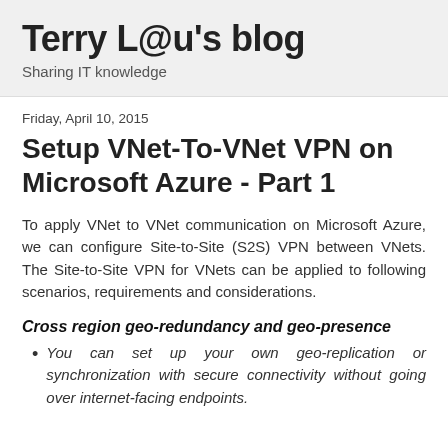Terry L@u's blog
Sharing IT knowledge
Friday, April 10, 2015
Setup VNet-To-VNet VPN on Microsoft Azure - Part 1
To apply VNet to VNet communication on Microsoft Azure, we can configure Site-to-Site (S2S) VPN between VNets. The Site-to-Site VPN for VNets can be applied to following scenarios, requirements and considerations.
Cross region geo-redundancy and geo-presence
You can set up your own geo-replication or synchronization with secure connectivity without going over internet-facing endpoints.